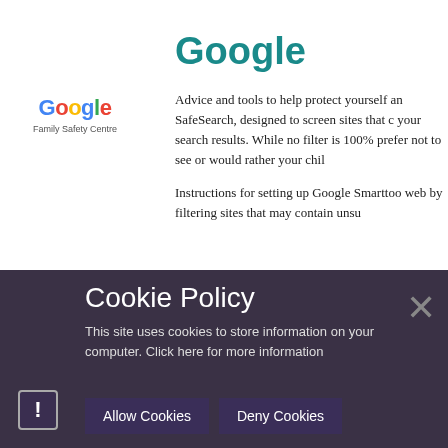Google
[Figure (logo): Google Family Safety Centre logo]
Advice and tools to help protect yourself an SafeSearch, designed to screen sites that c your search results. While no filter is 100% prefer not to see or would rather your chil Instructions for setting up Google Smarttoo web by filtering sites that may contain unsu
Cookie Policy
This site uses cookies to store information on your computer. Click here for more information
Allow Cookies
Deny Cookies